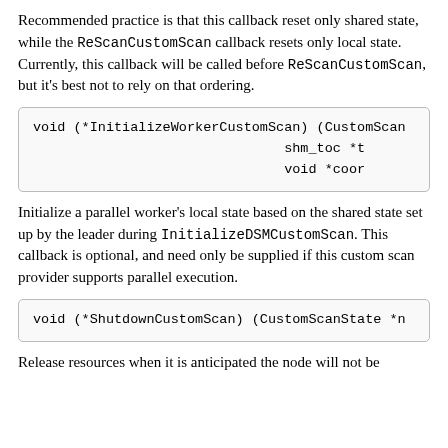Recommended practice is that this callback reset only shared state, while the ReScanCustomScan callback resets only local state. Currently, this callback will be called before ReScanCustomScan, but it's best not to rely on that ordering.
[Figure (other): Code block showing function signature: void (*InitializeWorkerCustomScan) (CustomScan... shm_toc *t... void *coor...]
Initialize a parallel worker's local state based on the shared state set up by the leader during InitializeDSMCustomScan. This callback is optional, and need only be supplied if this custom scan provider supports parallel execution.
[Figure (other): Code block showing function signature: void (*ShutdownCustomScan) (CustomScanState *n...]
Release resources when it is anticipated the node will not be